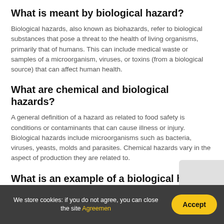What is meant by biological hazard?
Biological hazards, also known as biohazards, refer to biological substances that pose a threat to the health of living organisms, primarily that of humans. This can include medical waste or samples of a microorganism, viruses, or toxins (from a biological source) that can affect human health.
What are chemical and biological hazards?
A general definition of a hazard as related to food safety is conditions or contaminants that can cause illness or injury. Biological hazards include microorganisms such as bacteria, viruses, yeasts, molds and parasites. Chemical hazards vary in the aspect of production they are related to.
What is an example of a biological hazard
We store cookies: if you do not agree, you can close the site Agreemen